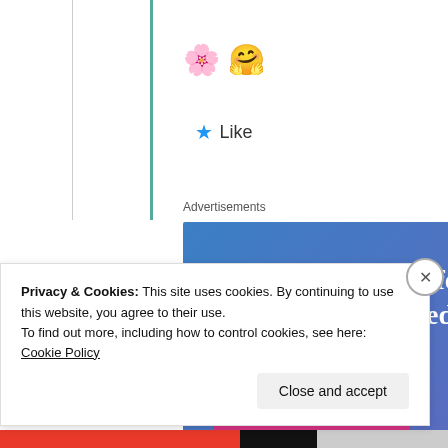[Figure (illustration): Two emoji icons: bouquet of flowers and a smiling hugging face]
★ Like
Advertisements
[Figure (infographic): Advertisement banner with blue-to-purple gradient background, text 'Simplified pricing for everything you need.', a pink 'Build Your Website' button, and a 3D price tag image on the right]
Privacy & Cookies: This site uses cookies. By continuing to use this website, you agree to their use.
To find out more, including how to control cookies, see here: Cookie Policy
Close and accept